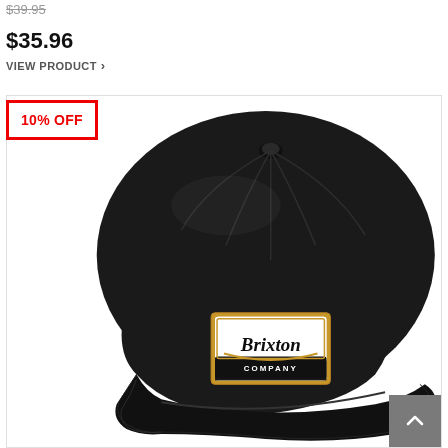$39.95 (original price, strikethrough)
$35.96
VIEW PRODUCT >
10% OFF
[Figure (photo): Black Brixton snapback cap with white and gold embroidered patch logo reading 'Brixton COMPANY' on the front panel, photographed against a white background.]